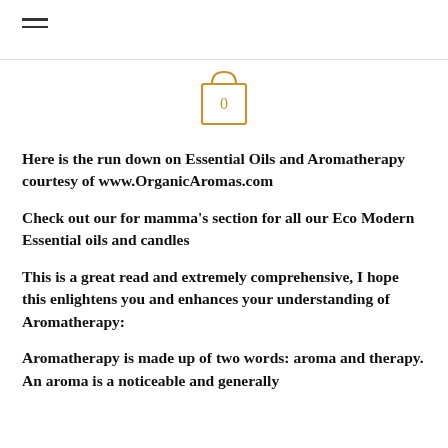≡  [hamburger menu icon]
[Figure (illustration): Shopping cart icon with the number 0 inside, drawn in golden/amber color outline]
Here is the run down on Essential Oils and Aromatherapy courtesy of www.OrganicAromas.com
Check out our for mamma's section for all our Eco Modern Essential oils and candles
This is a great read and extremely comprehensive, I hope this enlightens you and enhances your understanding of Aromatherapy:
Aromatherapy is made up of two words: aroma and therapy. An aroma is a noticeable and generally